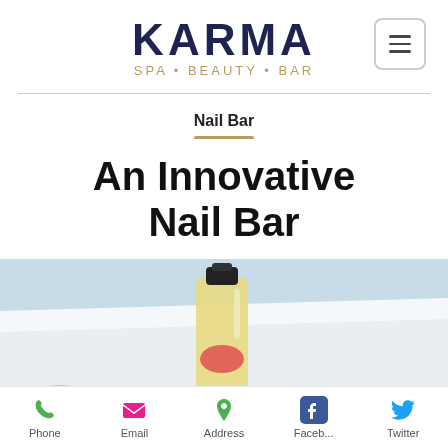[Figure (logo): Karma Spa Beauty Bar logo with dark navy 'KARMA' text and gold 'SPA · BEAUTY · BAR' subtitle, plus a hamburger menu button]
Nail Bar
An Innovative Nail Bar
[Figure (photo): A nail/spa product bottle with black cap containing golden liquid, resting on the edge of a white surface with a light blue background; a yellow spongy object in the foreground]
Phone   Email   Address   Faceb...   Twitter